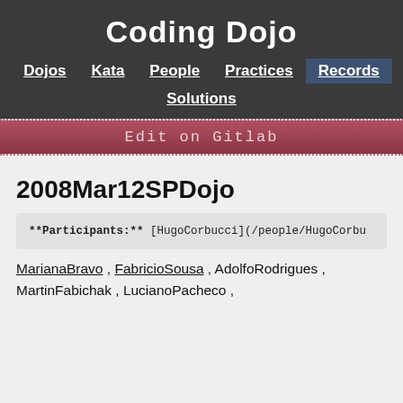Coding Dojo
Dojos | Kata | People | Practices | Records | Solutions
Edit on Gitlab
2008Mar12SPDojo
**Participants:** [HugoCorbucci](/people/HugorCorbu...
MarianaBravo , FabricioSousa , AdolfoRodrigues , MartinFabichak , LucianoPacheco ,